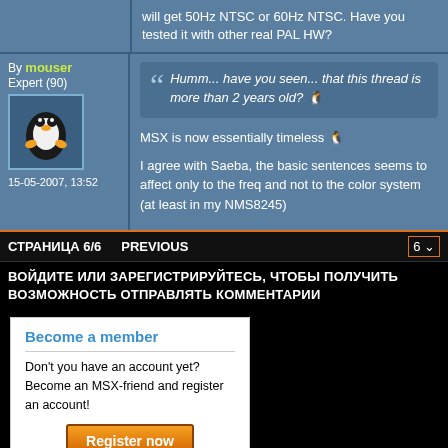will get 50Hz NTSC or 60Hz NTSC. Have you tested it with other real PAL HW?
By mouser
Expert (90)
15-05-2007, 13:52
Humm... have you seen... that this thread is more than 2 years old?
MSX is now essentially timeless
I agree with Saeba, the basic sentences seems to affect only to the freq and not to the color system (at least in my NMS8245)
СТРАНИЦА 6/6   PREVIOUS   6
ВОЙДИТЕ ИЛИ ЗАРЕГИСТРИРУЙТЕСЬ, ЧТОБЫ ПОЛУЧИТЬ ВОЗМОЖНОСТЬ ОТПРАВЛЯТЬ КОММЕНТАРИИ
Become a member
Don't you have an account yet? Become an MSX-friend and register an account!
Register now